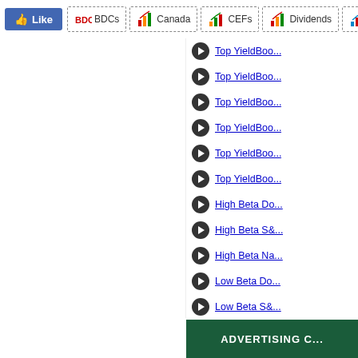Like | BDCs | Canada | CEFs | Dividends | Energy | B...
Top YieldBoo...
Top YieldBoo...
Top YieldBoo...
Top YieldBoo...
Top YieldBoo...
Top YieldBoo...
High Beta Do...
High Beta S&...
High Beta Na...
Low Beta Do...
Low Beta S&...
Low Beta Na...
Top Ten High...
Dividend Cha...
Increasing Pa...
10 Cheap Div...
10 Low Priced...
Safer than S....
S.A.F.E. Divid...
Top 25 Broke...
Stock market...
ADVERTISING C...